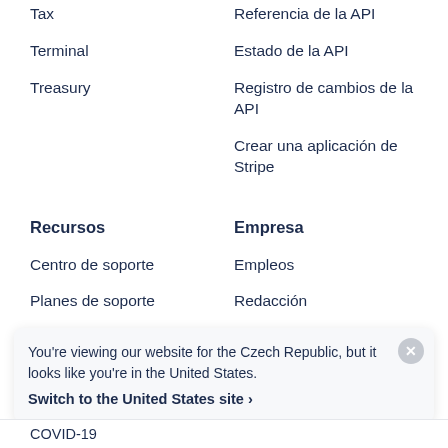Tax
Referencia de la API
Terminal
Estado de la API
Treasury
Registro de cambios de la API
Crear una aplicación de Stripe
Recursos
Empresa
Centro de soporte
Empleos
Planes de soporte
Redacción
Guías
Stripe Press
Historias de clientes
Conviértete en socio
Blog
You're viewing our website for the Czech Republic, but it looks like you're in the United States.
Switch to the United States site ›
COVID-19